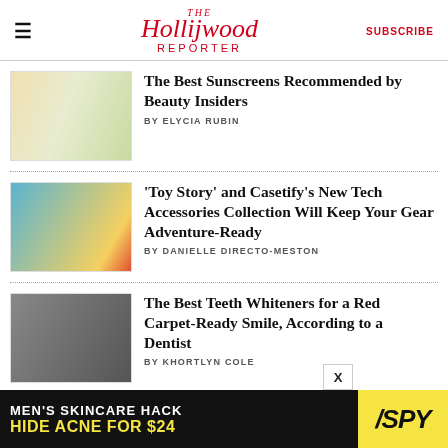The Hollywood Reporter | SUBSCRIBE
[Figure (photo): Product image of sunscreen bottles on yellow-green background]
The Best Sunscreens Recommended by Beauty Insiders
BY ELYCIA RUBIN
[Figure (photo): Toy Story and Casetify phone cases and accessories on blue background]
'Toy Story' and Casetify's New Tech Accessories Collection Will Keep Your Gear Adventure-Ready
BY DANIELLE DIRECTO-MESTON
[Figure (photo): Two people smiling with teeth whitening products]
The Best Teeth Whiteners for a Red Carpet-Ready Smile, According to a Dentist
BY KHORTLYN COLE
[Figure (infographic): Advertisement banner: MEN'S SKINCARE HACK HIDE ACNE FOR $24 — SPY logo]